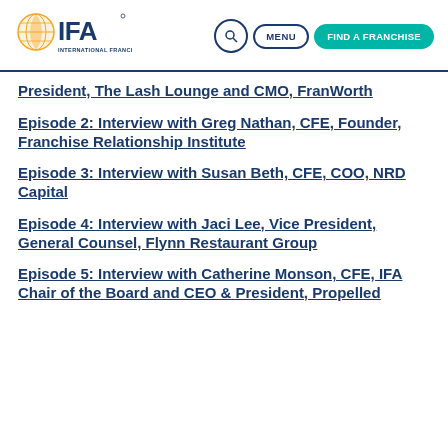IFA International Franchise Association — Search | Menu | Find a Franchise
President, The Lash Lounge and CMO, FranWorth
Episode 2: Interview with Greg Nathan, CFE, Founder, Franchise Relationship Institute
Episode 3: Interview with Susan Beth, CFE, COO, NRD Capital
Episode 4: Interview with Jaci Lee, Vice President, General Counsel, Flynn Restaurant Group
Episode 5: Interview with Catherine Monson, CFE, IFA Chair of the Board and CEO & President, Propelled